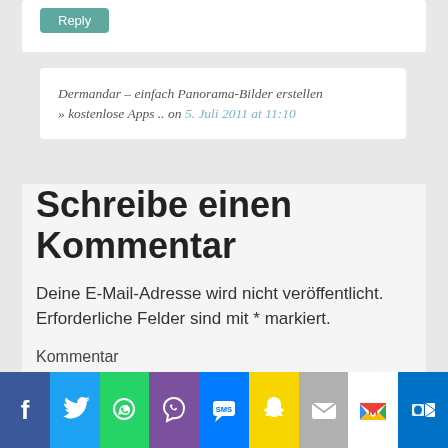[Figure (screenshot): Reply button on white card background]
Dermandar – einfach Panorama-Bilder erstellen » kostenlose Apps .. on 5. Juli 2011 at 11:10
Schreibe einen Kommentar
Deine E-Mail-Adresse wird nicht veröffentlicht. Erforderliche Felder sind mit * markiert.
Kommentar
[Figure (screenshot): Social sharing bar with Facebook, Twitter, WhatsApp, Viber, SMS, Snapchat, Mail, Gmail, Outlook buttons]